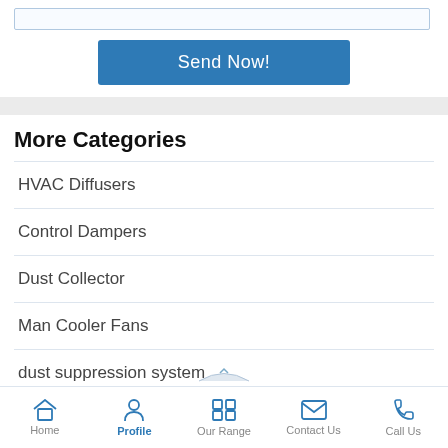[Figure (screenshot): Input text field (form element) at top of page]
[Figure (screenshot): Blue 'Send Now!' button]
More Categories
HVAC Diffusers
Control Dampers
Dust Collector
Man Cooler Fans
dust suppression system
Commercial Kitchen Designers
Home  Profile  Our Range  Contact Us  Call Us